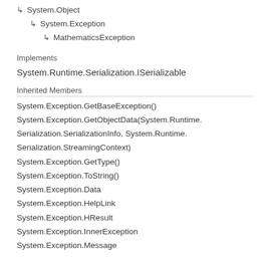↳ System.Object
↳ System.Exception
↳ MathematicsException
Implements
System.Runtime.Serialization.ISerializable
Inherited Members
System.Exception.GetBaseException()
System.Exception.GetObjectData(System.Runtime.Serialization.SerializationInfo, System.Runtime.Serialization.StreamingContext)
System.Exception.GetType()
System.Exception.ToString()
System.Exception.Data
System.Exception.HelpLink
System.Exception.HResult
System.Exception.InnerException
System.Exception.Message